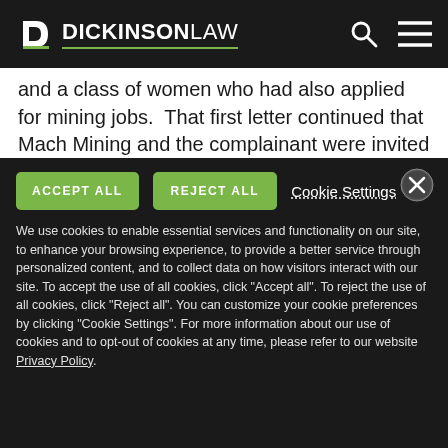DICKINSONLAW
and a class of women who had also applied for mining jobs.  That first letter continued that Mach Mining and the complainant were invited to participate in 'informal methods of resolution,' stating that a representative of the EEOC 'would soon   contact [them] to begin the process." About a year later, the EEOC itself sued Mach
We use cookies to enable essential services and functionality on our site, to enhance your browsing experience, to provide a better service through personalized content, and to collect data on how visitors interact with our site. To accept the use of all cookies, click "Accept all". To reject the use of all cookies, click "Reject all". You can customize your cookie preferences by clicking "Cookie Settings". For more information about our use of cookies and to opt-out of cookies at any time, please refer to our website Privacy Policy.